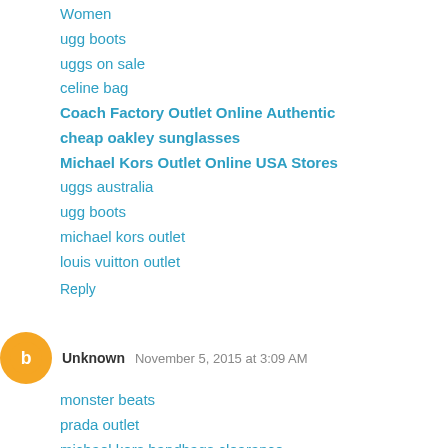Women
ugg boots
uggs on sale
celine bag
Coach Factory Outlet Online Authentic
cheap oakley sunglasses
Michael Kors Outlet Online USA Stores
uggs australia
ugg boots
michael kors outlet
louis vuitton outlet
Reply
Unknown November 5, 2015 at 3:09 AM
monster beats
prada outlet
michael kors handbags clearance
cleveland cavaliers
lululemon outlet
true religion outlet,true religion jeans,true religion